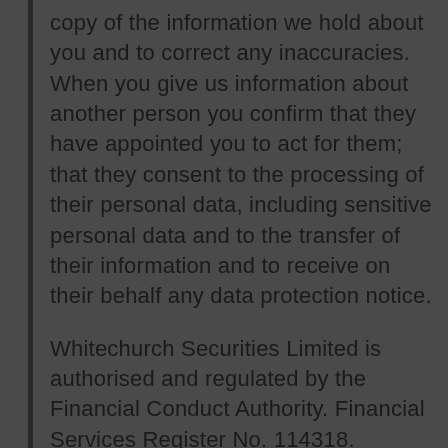copy of the information we hold about you and to correct any inaccuracies. When you give us information about another person you confirm that they have appointed you to act for them; that they consent to the processing of their personal data, including sensitive personal data and to the transfer of their information and to receive on their behalf any data protection notice.
Whitechurch Securities Limited is authorised and regulated by the Financial Conduct Authority. Financial Services Register No. 114318.